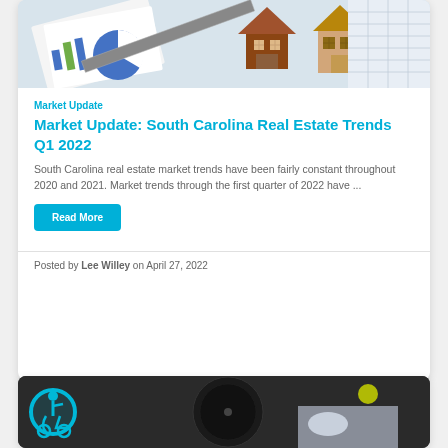[Figure (photo): Real estate photo showing wooden house models, charts, graphs, ruler and financial documents on a desk]
Market Update
Market Update: South Carolina Real Estate Trends Q1 2022
South Carolina real estate market trends have been fairly constant throughout 2020 and 2021. Market trends through the first quarter of 2022 have ...
Read More
Posted by Lee Willey on April 27, 2022
[Figure (photo): Person holding a pen or dial, with accessibility icon overlay in bottom left corner]